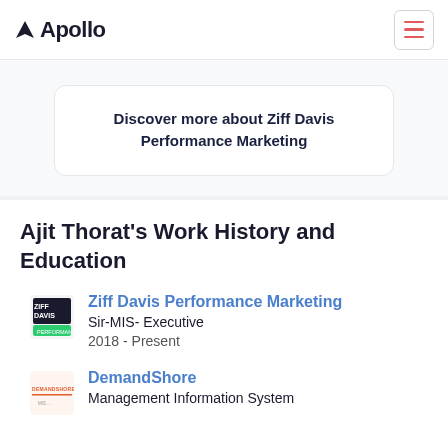Apollo
Discover more about Ziff Davis Performance Marketing
Ajit Thorat's Work History and Education
Ziff Davis Performance Marketing
Sir-MIS- Executive
2018 - Present
DemandShore
Management Information System